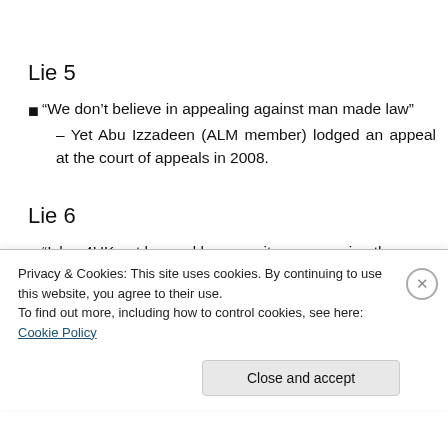Lie 5
“We don’t believe in appealing against man made law” – Yet Abu Izzadeen (ALM member) lodged an appeal at the court of appeals in 2008.
Lie 6
“Islam4UK got banned because it was exposing the
Privacy & Cookies: This site uses cookies. By continuing to use this website, you agree to their use.
To find out more, including how to control cookies, see here: Cookie Policy